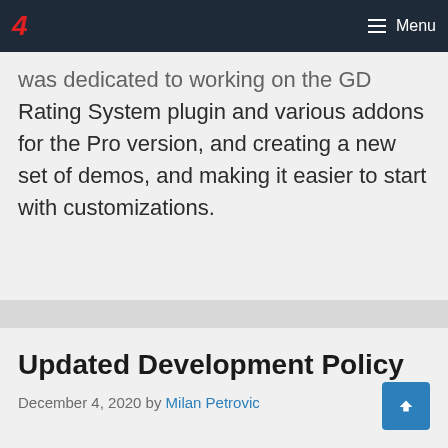4  Menu
was dedicated to working on the GD Rating System plugin and various addons for the Pro version, and creating a new set of demos, and making it easier to start with customizations.
Updated Development Policy
December 4, 2020 by Milan Petrovic